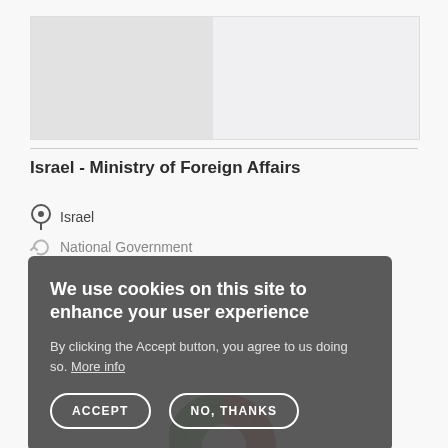[Figure (screenshot): Two-panel image area at top of page — left panel grey, right panel light grey, representing screenshot thumbnails]
Israel - Ministry of Foreign Affairs
Israel
National Government
We use cookies on this site to enhance your user experience
By clicking the Accept button, you agree to us doing so. More info
ACCEPT  NO, THANKS
[Figure (logo): Circular logo at bottom with red, blue, and green segments with text around ring — partially cropped at bottom]